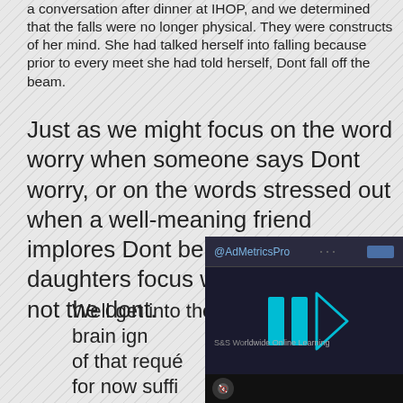a conversation after dinner at IHOP, and we determined that the falls were no longer physical. They were constructs of her mind. She had talked herself into falling because prior to every meet she had told herself, Dont fall off the beam.
Just as we might focus on the word worry when someone says Dont worry, or on the words stressed out when a well-meaning friend implores Dont be stressed out, my daughters focus was on the fall off, not the dont.
Well get into the details of how the brain ign of that reque for now suffi focused on t routine. She sticking the cartwheel
[Figure (screenshot): AdMetricsPro advertisement overlay showing a video player with blue play/pause bars and a triangle play button on a dark background, with S&S Worldwide Online Learning branding, a mute button in the lower left corner.]